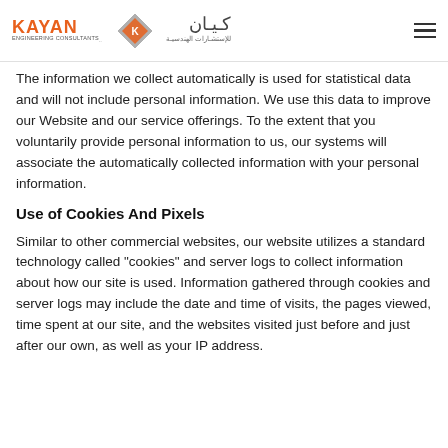KAYAN ENGINEERING CONSULTANTS — logo header with Arabic text and hamburger menu
The information we collect automatically is used for statistical data and will not include personal information. We use this data to improve our Website and our service offerings. To the extent that you voluntarily provide personal information to us, our systems will associate the automatically collected information with your personal information.
Use of Cookies And Pixels
Similar to other commercial websites, our website utilizes a standard technology called "cookies" and server logs to collect information about how our site is used. Information gathered through cookies and server logs may include the date and time of visits, the pages viewed, time spent at our site, and the websites visited just before and just after our own, as well as your IP address.